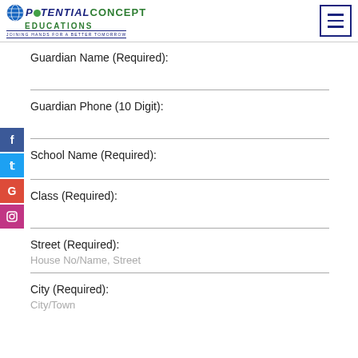[Figure (logo): Potential Concept Educations logo with globe icon and tagline 'Joining Hands for a Better Tomorrow']
Guardian Name (Required):
Guardian Phone (10 Digit):
School Name (Required):
Class (Required):
Street (Required):
House No/Name, Street
City (Required):
City/Town